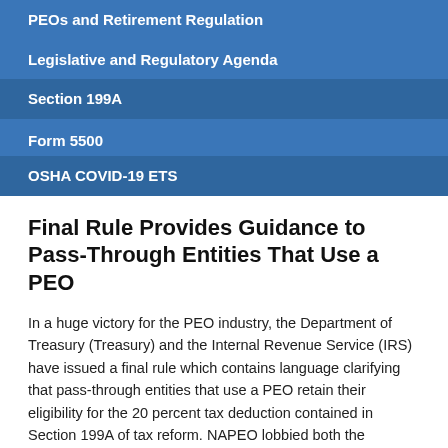PEOs and Retirement Regulation
Legislative and Regulatory Agenda
Section 199A
Form 5500
OSHA COVID-19 ETS
Final Rule Provides Guidance to Pass-Through Entities That Use a PEO
In a huge victory for the PEO industry, the Department of Treasury (Treasury) and the Internal Revenue Service (IRS) have issued a final rule which contains language clarifying that pass-through entities that use a PEO retain their eligibility for the 20 percent tax deduction contained in Section 199A of tax reform. NAPEO lobbied both the Treasury and IRS to clarify that pass-through entities that use a PEO remain eligible for this tax deduction.